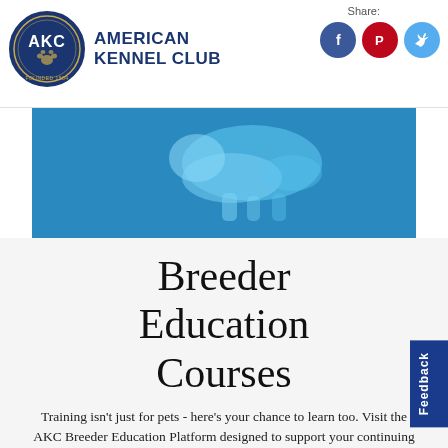American Kennel Club
Share:
[Figure (photo): Blue-tinted photo of a dog lying on a surface, viewed from above.]
Breeder Education Courses
Training isn't just for pets - here's your chance to learn too. Visit the AKC Breeder Education Platform designed to support your continuing education needs. Course topics include